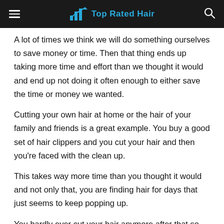Top Rated Hair
A lot of times we think we will do something ourselves to save money or time. Then that thing ends up taking more time and effort than we thought it would and end up not doing it often enough to either save the time or money we wanted.
Cutting your own hair at home or the hair of your family and friends is a great example. You buy a good set of hair clippers and you cut your hair and then you're faced with the clean up.
This takes way more time than you thought it would and not only that, you are finding hair for days that just seems to keep popping up.
You hardly ever cut your hair anymore after that so you essentially wasted your money on those clippers.